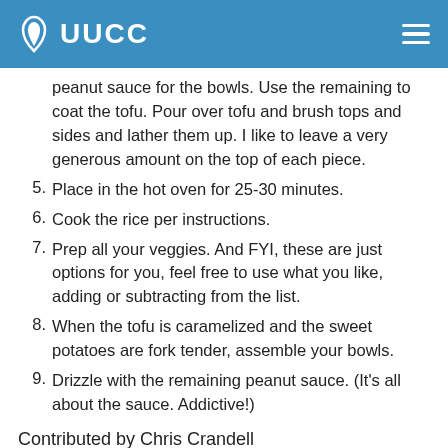UUCC
peanut sauce for the bowls. Use the remaining to coat the tofu. Pour over tofu and brush tops and sides and lather them up. I like to leave a very generous amount on the top of each piece.
5. Place in the hot oven for 25-30 minutes.
6. Cook the rice per instructions.
7. Prep all your veggies. And FYI, these are just options for you, feel free to use what you like, adding or subtracting from the list.
8. When the tofu is caramelized and the sweet potatoes are fork tender, assemble your bowls.
9. Drizzle with the remaining peanut sauce. (It's all about the sauce. Addictive!)
Contributed by Chris Crandell